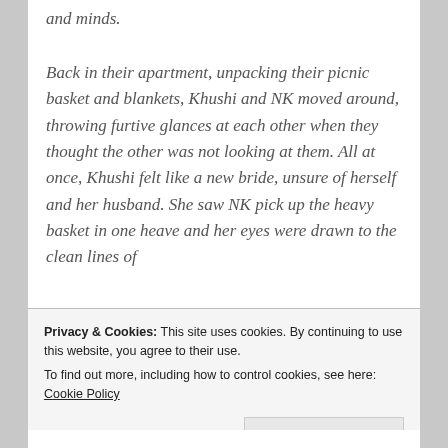and minds.
Back in their apartment, unpacking their picnic basket and blankets, Khushi and NK moved around, throwing furtive glances at each other when they thought the other was not looking at them. All at once, Khushi felt like a new bride, unsure of herself and her husband. She saw NK pick up the heavy basket in one heave and her eyes were drawn to the clean lines of
Privacy & Cookies: This site uses cookies. By continuing to use this website, you agree to their use.
To find out more, including how to control cookies, see here: Cookie Policy
Close and accept